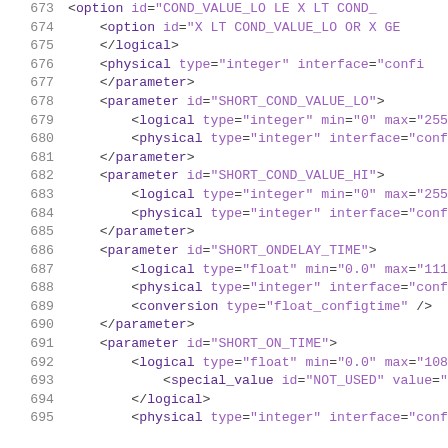673   <option id="COND_VALUE_LO LE X LT COND_...
674     <option id="X LT COND_VALUE_LO OR X GE ...
675     </logical>
676     <physical type="integer" interface="confi...
677   </parameter>
678   <parameter id="SHORT_COND_VALUE_LO">
679     <logical type="integer" min="0" max="255"...
680     <physical type="integer" interface="confi...
681   </parameter>
682   <parameter id="SHORT_COND_VALUE_HI">
683     <logical type="integer" min="0" max="255"...
684     <physical type="integer" interface="confi...
685   </parameter>
686   <parameter id="SHORT_ONDELAY_TIME">
687     <logical type="float" min="0.0" max="1116...
688     <physical type="integer" interface="confi...
689     <conversion type="float_configtime" />
690   </parameter>
691   <parameter id="SHORT_ON_TIME">
692     <logical type="float" min="0.0" max="1080...
693       <special_value id="NOT_USED" value="111...
694     </logical>
695     <physical type="integer" interface="confi...